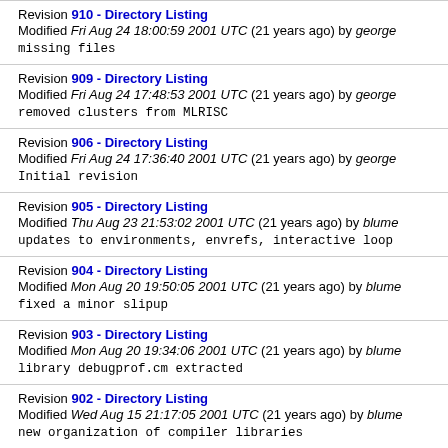Revision 910 - Directory Listing
Modified Fri Aug 24 18:00:59 2001 UTC (21 years ago) by george
missing files
Revision 909 - Directory Listing
Modified Fri Aug 24 17:48:53 2001 UTC (21 years ago) by george
removed clusters from MLRISC
Revision 906 - Directory Listing
Modified Fri Aug 24 17:36:40 2001 UTC (21 years ago) by george
Initial revision
Revision 905 - Directory Listing
Modified Thu Aug 23 21:53:02 2001 UTC (21 years ago) by blume
updates to environments, envrefs, interactive loop
Revision 904 - Directory Listing
Modified Mon Aug 20 19:50:05 2001 UTC (21 years ago) by blume
fixed a minor slipup
Revision 903 - Directory Listing
Modified Mon Aug 20 19:34:06 2001 UTC (21 years ago) by blume
library debugprof.cm extracted
Revision 902 - Directory Listing
Modified Wed Aug 15 21:17:05 2001 UTC (21 years ago) by blume
new organization of compiler libraries